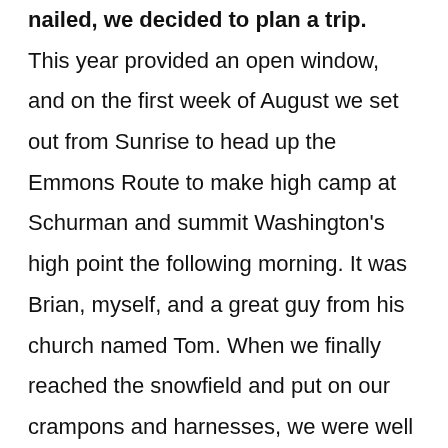nailed, we decided to plan a trip. This year provided an open window, and on the first week of August we set out from Sunrise to head up the Emmons Route to make high camp at Schurman and summit Washington's high point the following morning. It was Brian, myself, and a great guy from his church named Tom. When we finally reached the snowfield and put on our crampons and harnesses, we were well above the normal boundaries of the glacier because of snowmelt and intense summer heat. We embarked across a couple of football field-sized patches of snow before we came to solid ice.